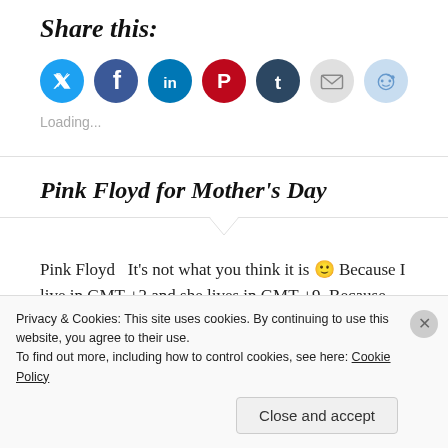Share this:
[Figure (other): Row of social media sharing icons: Twitter (blue), Facebook (blue), LinkedIn (teal), Pinterest (red), Tumblr (dark navy), Email (gray), Reddit (light blue)]
Loading...
Pink Floyd for Mother's Day
Pink Floyd  It's not what you think it is 🙂 Because I live in GMT +2 and she lives in GMT +9. Because she live at 40 degrees south and I live at 40 degrees north
Privacy & Cookies: This site uses cookies. By continuing to use this website, you agree to their use.
To find out more, including how to control cookies, see here: Cookie Policy
Close and accept